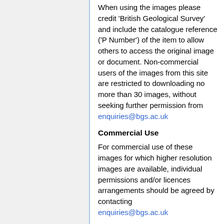When using the images please credit 'British Geological Survey' and include the catalogue reference ('P Number') of the item to allow others to access the original image or document. Non-commercial users of the images from this site are restricted to downloading no more than 30 images, without seeking further permission from enquiries@bgs.ac.uk
Commercial Use
For commercial use of these images for which higher resolution images are available, individual permissions and/or licences arrangements should be agreed by contacting enquiries@bgs.ac.uk
Commercial use will include publications in books (including